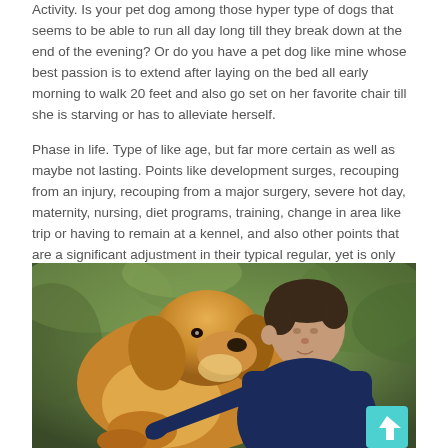Activity. Is your pet dog among those hyper type of dogs that seems to be able to run all day long till they break down at the end of the evening? Or do you have a pet dog like mine whose best passion is to extend after laying on the bed all early morning to walk 20 feet and also go set on her favorite chair till she is starving or has to alleviate herself.
Phase in life. Type of like age, but far more certain as well as maybe not lasting. Points like development surges, recouping from an injury, recouping from a major surgery, severe hot day, maternity, nursing, diet programs, training, change in area like trip or having to remain at a kennel, and also other points that are a significant adjustment in their typical regular, yet is only short-lived.
[Figure (photo): A golden retriever dog licking/nuzzling a young boy's face. The boy is wearing a dark blue jacket and hugging the dog. The background is blurred green/brown outdoor foliage. A teal scroll-to-top button is visible in the bottom right corner.]